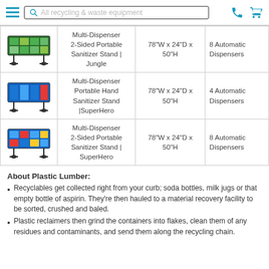All recycling & waste equipment
| Image | Product Name | Dimensions | Dispensers |
| --- | --- | --- | --- |
| [img] | Multi-Dispenser 2-Sided Portable Sanitizer Stand | Jungle | 78"W x 24"D x 50"H | 8 Automatic Dispensers |
| [img] | Multi-Dispenser Portable Hand Sanitizer Stand |SuperHero | 78"W x 24"D x 50"H | 4 Automatic Dispensers |
| [img] | Multi-Dispenser 2-Sided Portable Sanitizer Stand | SuperHero | 78"W x 24"D x 50"H | 8 Automatic Dispensers |
About Plastic Lumber:
Recyclables get collected right from your curb; soda bottles, milk jugs or that empty bottle of aspirin. They're then hauled to a material recovery facility to be sorted, crushed and baled.
Plastic reclaimers then grind the containers into flakes, clean them of any residues and contaminants, and send them along the recycling chain.